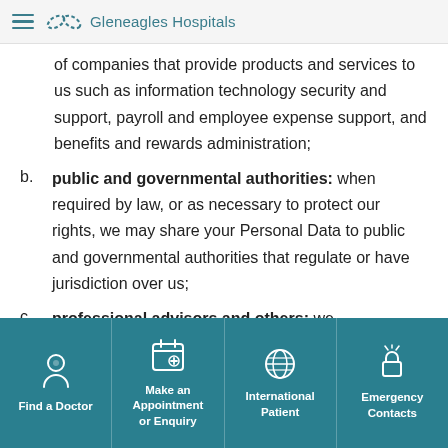Gleneagles Hospitals
of companies that provide products and services to us such as information technology security and support, payroll and employee expense support, and benefits and rewards administration;
b. public and governmental authorities: when required by law, or as necessary to protect our rights, we may share your Personal Data to public and governmental authorities that regulate or have jurisdiction over us;
c. professional advisors and others: we
Find a Doctor | Make an Appointment or Enquiry | International Patient | Emergency Contacts